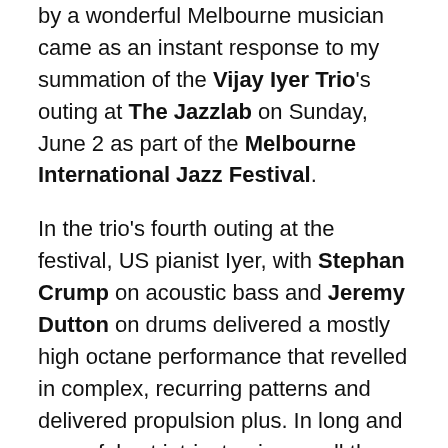by a wonderful Melbourne musician came as an instant response to my summation of the Vijay Iyer Trio's outing at The Jazzlab on Sunday, June 2 as part of the Melbourne International Jazz Festival.
In the trio's fourth outing at the festival, US pianist Iyer, with Stephan Crump on acoustic bass and Jeremy Dutton on drums delivered a mostly high octane performance that revelled in complex, recurring patterns and delivered propulsion plus. In long and powerful yet intricate pieces, all three trio members seemed to embody their music, tapping into a rhythmic sense deep within them and feeling it so strongly that it erupted out of them.
This outstanding concert was at times mesmeric, yet demanded concentration. Elements within the music were always changing as the trio members' interplay built